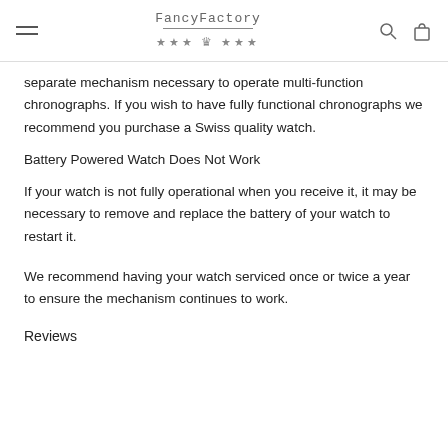FancyFactory
separate mechanism necessary to operate multi-function chronographs. If you wish to have fully functional chronographs we recommend you purchase a Swiss quality watch.
Battery Powered Watch Does Not Work
If your watch is not fully operational when you receive it, it may be necessary to remove and replace the battery of your watch to restart it.
We recommend having your watch serviced once or twice a year to ensure the mechanism continues to work.
Reviews